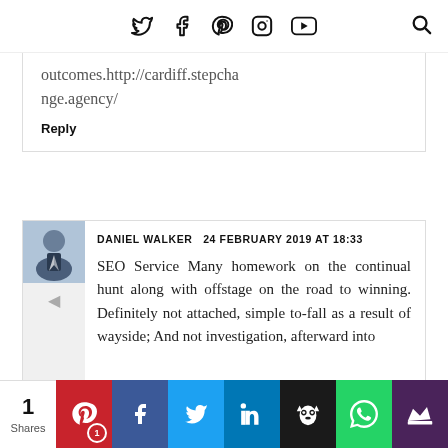Social icons navigation bar with Twitter, Facebook, Pinterest, Instagram, YouTube, and Search
outcomes.http://cardiff.stepchange.agency/
Reply
DANIEL WALKER  24 FEBRUARY 2019 AT 18:33
SEO Service Many homework on the continual hunt along with offstage on the road to winning. Definitely not attached, simple to-fall as a result of wayside; And not investigation, afterward into
1 Shares | Pinterest | Facebook | Twitter | LinkedIn | Buffer | WhatsApp | Crown